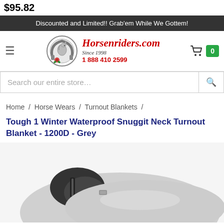$95.82
Discounted and Limited!! Grab'em While We Gottem!
[Figure (logo): Horsenriders.com logo with horseshoe and horse graphic, site name in red italic script, 'Since 1998' in italic, phone number 1 888 410 2599 in red]
Search our entire store…
Home / Horse Wears / Turnout Blankets /
Tough 1 Winter Waterproof Snuggit Neck Turnout Blanket - 1200D - Grey
[Figure (photo): Partial product photo of a grey horse turnout blanket with black neck/collar area, shown from above on white background]